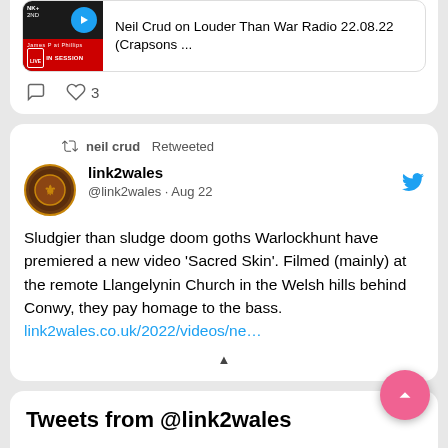[Figure (screenshot): Partial tweet card showing a media thumbnail for 'Neil Crud on Louder Than War Radio 22.08.22 (Crapsons ...' with a black thumbnail showing LIVE IN SESSION text and play button]
Neil Crud on Louder Than War Radio 22.08.22 (Crapsons ...
3
neil crud Retweeted
link2wales
@link2wales · Aug 22
Sludgier than sludge doom goths Warlockhunt have premiered a new video 'Sacred Skin'. Filmed (mainly) at the remote Llangelynin Church in the Welsh hills behind Conwy, they pay homage to the bass.
link2wales.co.uk/2022/videos/ne...
Tweets from @link2wales
link2wales